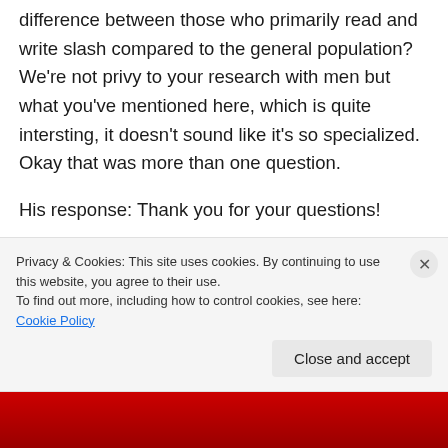difference between those who primarily read and write slash compared to the general population? We're not privy to your research with men but what you've mentioned here, which is quite intersting, it doesn't sound like it's so specialized. Okay that was more than one question.
His response: Thank you for your questions!
Well, slash is kind of the female equivalent of the
Privacy & Cookies: This site uses cookies. By continuing to use this website, you agree to their use.
To find out more, including how to control cookies, see here: Cookie Policy
Close and accept